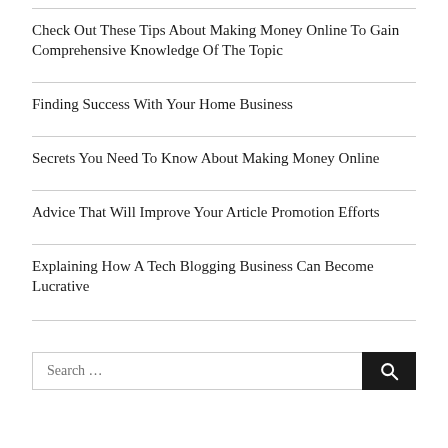Check Out These Tips About Making Money Online To Gain Comprehensive Knowledge Of The Topic
Finding Success With Your Home Business
Secrets You Need To Know About Making Money Online
Advice That Will Improve Your Article Promotion Efforts
Explaining How A Tech Blogging Business Can Become Lucrative